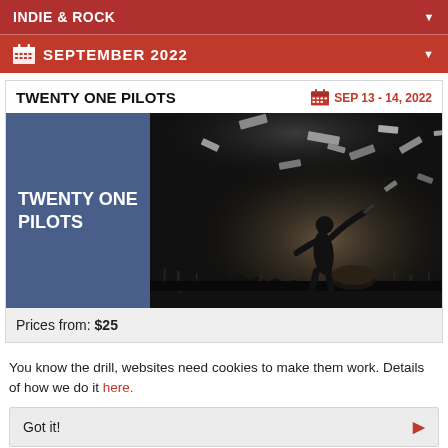INDIE & ROCK
SEPTEMBER 2022
TWENTY ONE PILOTS
SEP 13 - 14, 2022
[Figure (photo): Concert promotional image for Twenty One Pilots. Left half: dark blue background with bold white text 'TWENTY ONE PILOTS'. Right half: black and white concert photo showing a silhouetted performer on stage with crowds and confetti in the air.]
Prices from: $25
You know the drill, websites need cookies to make them work. Details of how we do it here.
Got it!